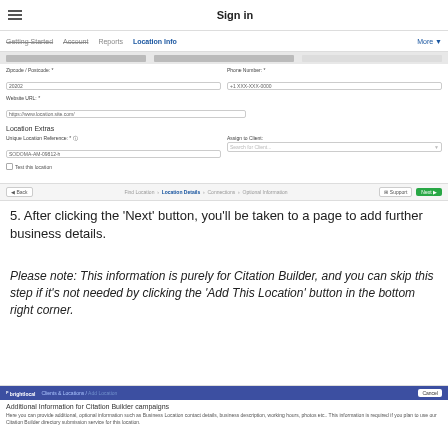[Figure (screenshot): Screenshot of a web application 'Sign in' page showing a navigation bar with Getting Started, Account, Reports, Location Info (active), More tabs. Below is a form with fields for Zipcode/Postcode, Phone Number, Website URL, and a Location Extras section with Unique Location Reference and Assign to Client fields. At the bottom is a navigation bar with Back button, breadcrumb steps (Find Location > Location Details > Connections > Optional Information), Support and Next buttons.]
5. After clicking the 'Next' button, you'll be taken to a page to add further business details.
Please note: This information is purely for Citation Builder, and you can skip this step if it's not needed by clicking the 'Add This Location' button in the bottom right corner.
[Figure (screenshot): Screenshot of BrightLocal application header showing 'Clients & Locations / Add Location' breadcrumb with a Cancel button, followed by a section titled 'Additional Information for Citation Builder campaigns' with descriptive text below.]